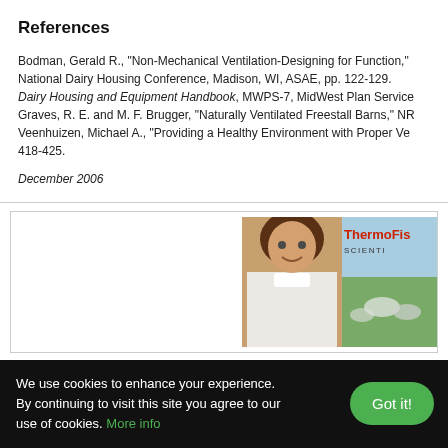References
Bodman, Gerald R., "Non-Mechanical Ventilation-Designing for Function," National Dairy Housing Conference, Madison, WI, ASAE, pp. 122-129. Dairy Housing and Equipment Handbook, MWPS-7, MidWest Plan Service. Graves, R. E. and M. F. Brugger, "Naturally Ventilated Freestall Barns," NR... Veenhuizen, Michael A., "Providing a Healthy Environment with Proper Ve... 418-425.
December 2006
[Figure (photo): ThermoFisher Scientific advertisement banner showing a woman in a lab coat with a blue background and cows in a pastoral scene. ThermoFisher Scientific logo visible in top right.]
We use cookies to enhance your experience. By continuing to visit this site you agree to our use of cookies. More info